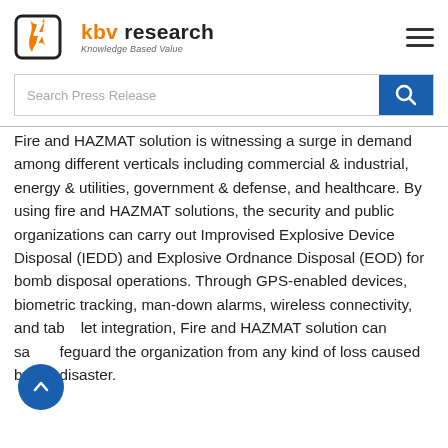KBV Research – Knowledge Based Value
Fire and HAZMAT solution is witnessing a surge in demand among different verticals including commercial & industrial, energy & utilities, government & defense, and healthcare. By using fire and HAZMAT solutions, the security and public organizations can carry out Improvised Explosive Device Disposal (IEDD) and Explosive Ordnance Disposal (EOD) for bomb disposal operations. Through GPS-enabled devices, biometric tracking, man-down alarms, wireless connectivity, and tablet integration, Fire and HAZMAT solution can safeguard the organization from any kind of loss caused by the disaster.